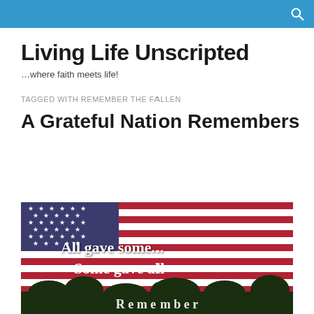Living Life Unscripted
…where faith meets life!
TAGGED WITH REMEMBER THE FALLEN
A Grateful Nation Remembers
[Figure (photo): American flag background with white text overlay reading 'All gave some... Some gave all' and partial text at bottom, with trees and sky visible below the flag]